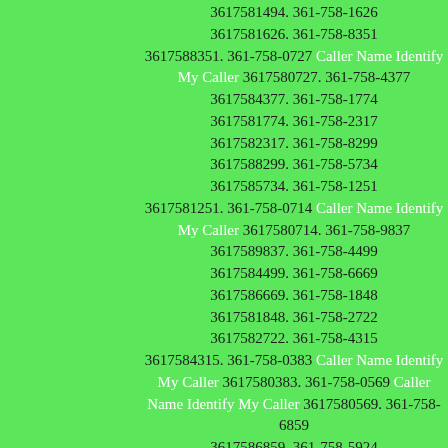3617581494. 361-758-1626 3617581626. 361-758-8351 3617588351. 361-758-0727 Caller Name Identify My Caller 3617580727. 361-758-4377 3617584377. 361-758-1774 3617581774. 361-758-2317 3617582317. 361-758-8299 3617588299. 361-758-5734 3617585734. 361-758-1251 3617581251. 361-758-0714 Caller Name Identify My Caller 3617580714. 361-758-9837 3617589837. 361-758-4499 3617584499. 361-758-6669 3617586669. 361-758-1848 3617581848. 361-758-2722 3617582722. 361-758-4315 3617584315. 361-758-0383 Caller Name Identify My Caller 3617580383. 361-758-0569 Caller Name Identify My Caller 3617580569. 361-758-6859 3617586859. 361-758-5924 3617585924. 361-758-7438 3617587438. 361-758-8802 3617588802. 361-758-7659 3617587659. 361-758-1712 3617581712. 361-758-1553